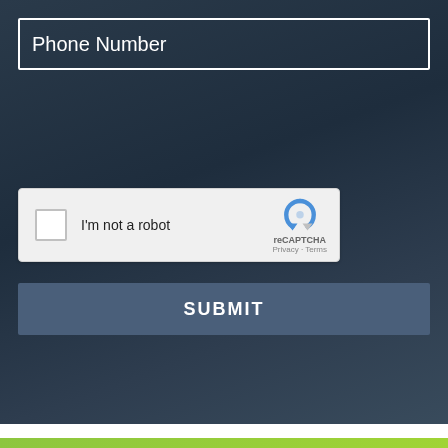Phone Number
[Figure (other): reCAPTCHA widget with checkbox labeled 'I'm not a robot' and reCAPTCHA logo with Privacy and Terms links]
SUBMIT